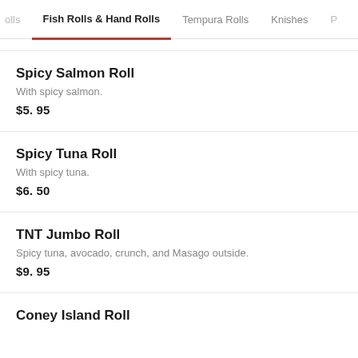olls | Fish Rolls & Hand Rolls | Tempura Rolls | Knishes | P...
Spicy Salmon Roll
With spicy salmon.
$5.95
Spicy Tuna Roll
With spicy tuna.
$6.50
TNT Jumbo Roll
Spicy tuna, avocado, crunch, and Masago outside.
$9.95
Coney Island Roll